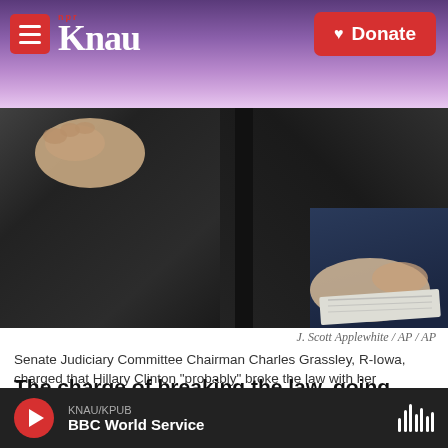KNAU NPR — Donate
[Figure (photo): Close-up of leather chairs with hands resting on them, one person in a dark suit holding papers — Senate hearing setting]
J. Scott Applewhite / AP / AP
Senate Judiciary Committee Chairman Charles Grassley, R-Iowa, charged that Hillary Clinton "probably" broke the law with her exclusive use of a private email address while secretary of state.
The charge of breaking the law, going around the law or being above it, is one Clinton is certain to
KNAU/KPUB — BBC World Service